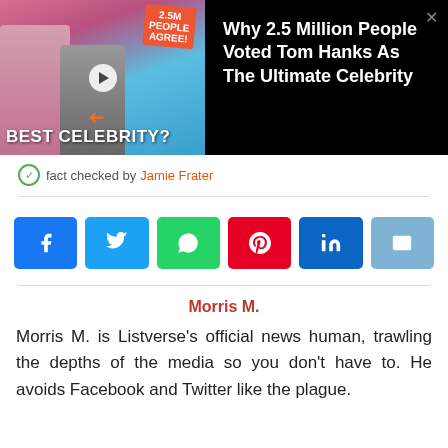[Figure (screenshot): Advertisement banner showing 'Why 2.5 Million People Voted Tom Hanks As The Ultimate Celebrity' with image of celebrities and text 'BEST CELEBRITY?']
fact checked by Jamie Frater
[Figure (infographic): Social media share buttons: Facebook, Twitter, WhatsApp, Pinterest, LinkedIn, Email]
Morris M.
Morris M. is Listverse's official news human, trawling the depths of the media so you don't have to. He avoids Facebook and Twitter like the plague.